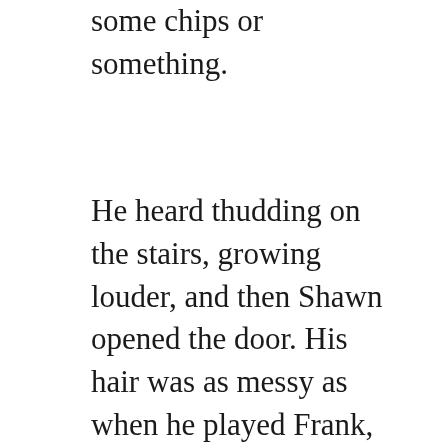some chips or something.
He heard thudding on the stairs, growing louder, and then Shawn opened the door. His hair was as messy as when he played Frank, and he was